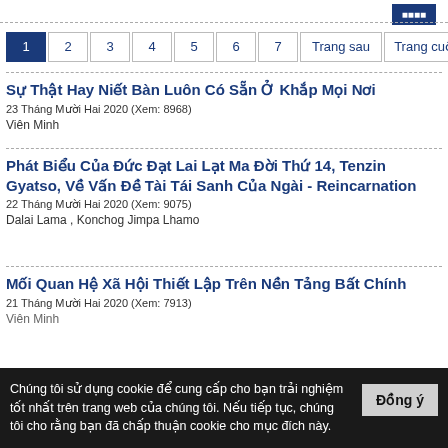[button top right]
1 2 3 4 5 6 7 Trang sau Trang cuối
Sự Thật Hay Niết Bàn Luôn Có Sẵn Ở Khắp Mọi Nơi
23 Tháng Mười Hai 2020  (Xem: 8968)
Viên Minh
Phát Biểu Của Đức Đạt Lai Lạt Ma Đời Thứ 14, Tenzin Gyatso, Về Vấn Đề Tài Tái Sanh Của Ngài - Reincarnation
22 Tháng Mười Hai 2020  (Xem: 9075)
Dalai Lama , Konchog Jimpa Lhamo
Mối Quan Hệ Xã Hội Thiết Lập Trên Nền Tảng Bất Chính
21 Tháng Mười Hai 2020  (Xem: 7913)
Viên Minh
Chúng tôi sử dụng cookie để cung cấp cho bạn trải nghiệm tốt nhất trên trang web của chúng tôi. Nếu tiếp tục, chúng tôi cho rằng bạn đã chấp thuận cookie cho mục đích này.